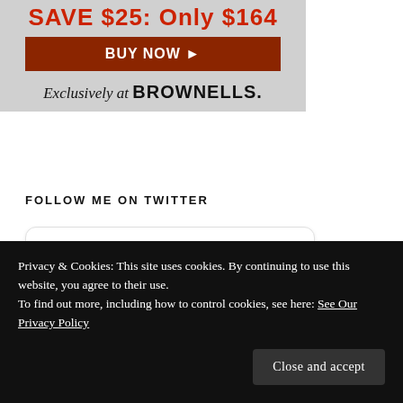[Figure (screenshot): Brownells advertisement banner: 'SAVE $25: Only $164' with a red 'BUY NOW' button and 'Exclusively at BROWNELLS.' text on a grey background.]
FOLLOW ME ON TWITTER
[Figure (screenshot): Embedded Twitter widget showing 'Tweets from @jasetaro' with a retweet by Jeffrey A. Setaro and a tweet from Hamilton Lincoln La with a Twitter bird icon.]
Privacy & Cookies: This site uses cookies. By continuing to use this website, you agree to their use.
To find out more, including how to control cookies, see here: See Our Privacy Policy
Close and accept